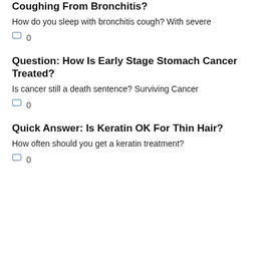Coughing From Bronchitis?
How do you sleep with bronchitis cough? With severe
0
Question: How Is Early Stage Stomach Cancer Treated?
Is cancer still a death sentence? Surviving Cancer
0
Quick Answer: Is Keratin OK For Thin Hair?
How often should you get a keratin treatment?
0